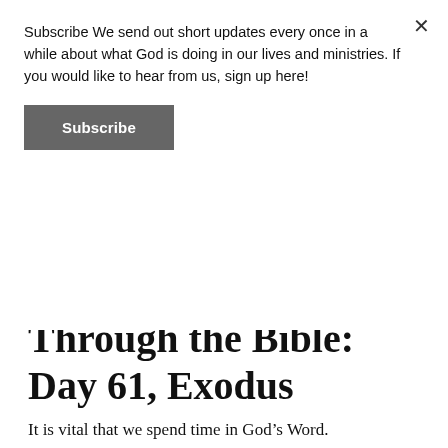Subscribe We send out short updates every once in a while about what God is doing in our lives and ministries. If you would like to hear from us, sign up here!
Subscribe
[Figure (photo): Partial view of an open Bible with a red ribbon bookmark, resting on a dark surface, cropped at the top portion.]
Through the Bible: Day 61, Exodus
It is vital that we spend time in God’s Word.
But it’s not always easy.